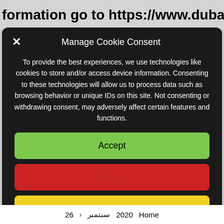formation go to https://www.dubaiglobalm
Manage Cookie Consent
To provide the best experiences, we use technologies like cookies to store and/or access device information. Consenting to these technologies will allow us to process data such as browsing behavior or unique IDs on this site. Not consenting or withdrawing consent, may adversely affect certain features and functions.
Accept
Deny
View preferences
26 سبتمبر 2020 Home